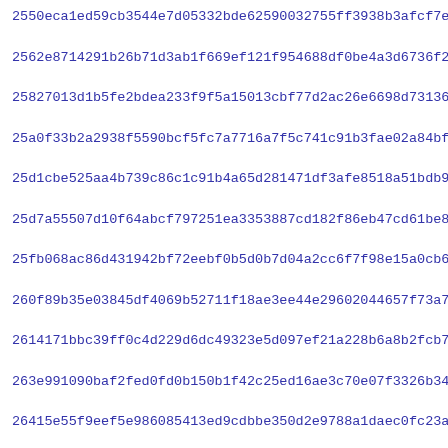2550eca1ed59cb3544e7d05332bde62590032755ff3938b3afcf7e32cd1b4...
2562e8714291b26b71d3ab1f669ef121f954688df0be4a3d6736f20cfe4aa...
25827013d1b5fe2bdea233f9f5a15013cbf77d2ac26e6698d73136651d4c1...
25a0f33b2a2938f5590bcf5fc7a7716a7f5c741c91b3fae02a84bf51f1dd6...
25d1cbe525aa4b739c86c1c91b4a65d281471df3afe8518a51bdb9d99442a...
25d7a55507d10f64abcf797251ea3353887cd182f86eb47cd61be8b195e63...
25fb068ac86d431942bf72eebf0b5d0b7d04a2cc6f7f98e15a0cb650a20a5...
260f89b35e03845df4069b52711f18ae3ee44e29602044657f73a79610fc3...
2614171bbc39ff0c4d229d6dc49323e5d097ef21a228b6a8b2fcb715d50ae...
263e991090baf2fed0fd0b150b1f42c25ed16ae3c70e07f3326b34895a8b6...
26415e55f9eef5e986085413ed9cdbbe350d2e9788a1daec0fc23a3df96e5...